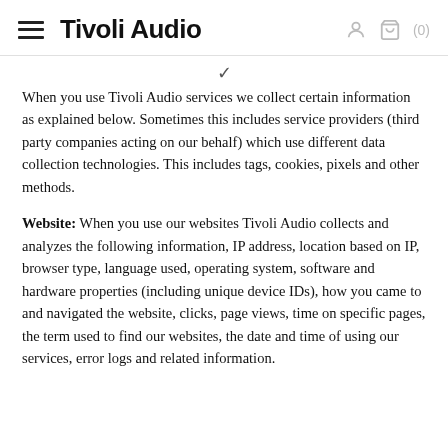Tivoli Audio
When you use Tivoli Audio services we collect certain information as explained below. Sometimes this includes service providers (third party companies acting on our behalf) which use different data collection technologies. This includes tags, cookies, pixels and other methods.
Website: When you use our websites Tivoli Audio collects and analyzes the following information, IP address, location based on IP, browser type, language used, operating system, software and hardware properties (including unique device IDs), how you came to and navigated the website, clicks, page views, time on specific pages, the term used to find our websites, the date and time of using our services, error logs and related information.